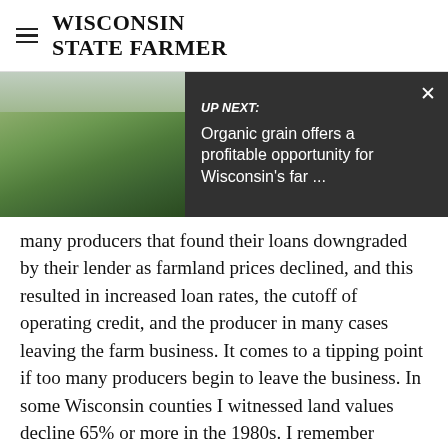WISCONSIN STATE FARMER
[Figure (screenshot): Up Next banner overlay on a field photo. Shows a green agricultural field with overcast sky on the left, and a dark overlay panel on the right with text: 'UP NEXT: Organic grain offers a profitable opportunity for Wisconsin's far ...' with an X close button.]
many producers that found their loans downgraded by their lender as farmland prices declined, and this resulted in increased loan rates, the cutoff of operating credit, and the producer in many cases leaving the farm business. It comes to a tipping point if too many producers begin to leave the business. In some Wisconsin counties I witnessed land values decline 65% or more in the 1980s. I remember working as a USDA loan officer in the 1980s attempting to restructure farm debt to keep families on the farm and stabilize rural communities from further decline. Many farms